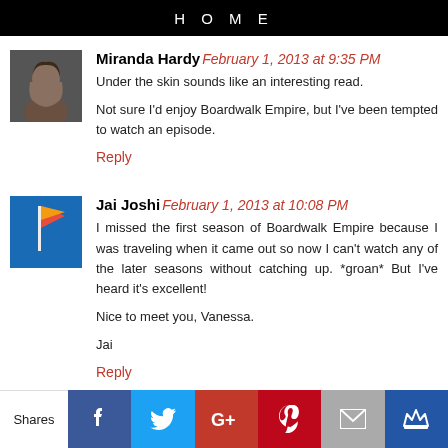HOME
Miranda Hardy February 1, 2013 at 9:35 PM
Under the skin sounds like an interesting read.

Not sure I'd enjoy Boardwalk Empire, but I've been tempted to watch an episode.
Reply
Jai Joshi February 1, 2013 at 10:08 PM
I missed the first season of Boardwalk Empire because I was traveling when it came out so now I can't watch any of the later seasons without catching up. *groan* But I've heard it's excellent!

Nice to meet you, Vanessa.

Jai
Reply
Shares [Facebook] [Twitter] [Google+] [Pinterest] [Email] [Crown]